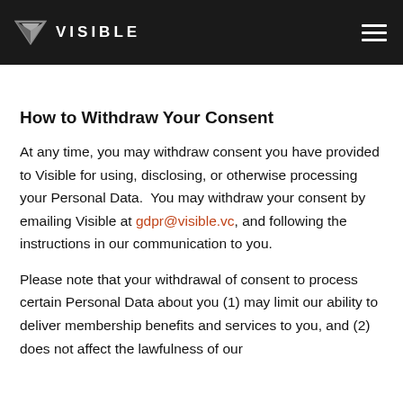VISIBLE
How to Withdraw Your Consent
At any time, you may withdraw consent you have provided to Visible for using, disclosing, or otherwise processing your Personal Data.  You may withdraw your consent by emailing Visible at gdpr@visible.vc, and following the instructions in our communication to you.
Please note that your withdrawal of consent to process certain Personal Data about you (1) may limit our ability to deliver membership benefits and services to you, and (2) does not affect the lawfulness of our